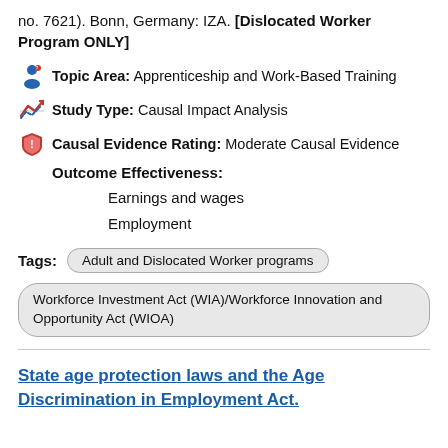no. 7621). Bonn, Germany: IZA. [Dislocated Worker Program ONLY]
Topic Area: Apprenticeship and Work-Based Training
Study Type: Causal Impact Analysis
Causal Evidence Rating: Moderate Causal Evidence
Outcome Effectiveness:
Earnings and wages
Employment
Tags: Adult and Dislocated Worker programs | Workforce Investment Act (WIA)/Workforce Innovation and Opportunity Act (WIOA)
State age protection laws and the Age Discrimination in Employment Act.